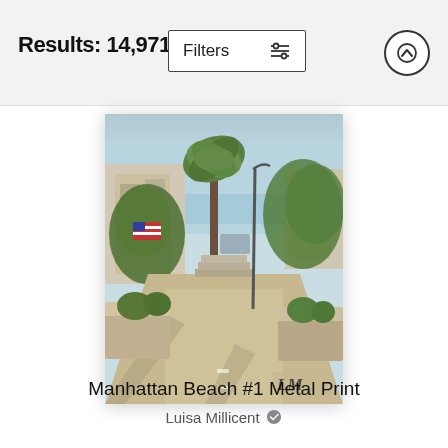Results: 14,971
Filters
[Figure (illustration): Watercolor painting of Manhattan Beach street scene with palm trees, sidewalk, buildings, American flag, and ocean view in the background. Artist monogram 'LM' in bottom right corner.]
Manhattan Beach #1 Metal Print
Luisa Millicent